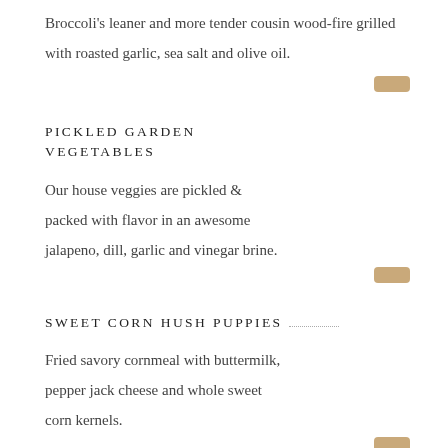Broccoli's leaner and more tender cousin wood-fire grilled with roasted garlic, sea salt and olive oil.
PICKLED GARDEN VEGETABLES
Our house veggies are pickled & packed with flavor in an awesome jalapeno, dill, garlic and vinegar brine.
SWEET CORN HUSH PUPPIES
Fried savory cornmeal with buttermilk, pepper jack cheese and whole sweet corn kernels.